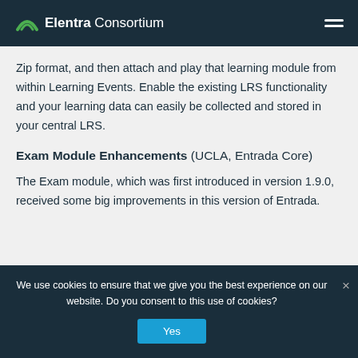Elentra Consortium
Zip format, and then attach and play that learning module from within Learning Events. Enable the existing LRS functionality and your learning data can easily be collected and stored in your central LRS.
Exam Module Enhancements (UCLA, Entrada Core)
The Exam module, which was first introduced in version 1.9.0, received some big improvements in this version of Entrada.
We use cookies to ensure that we give you the best experience on our website. Do you consent to this use of cookies?